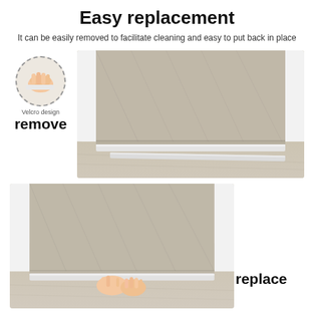Easy replacement
It can be easily removed to facilitate cleaning and easy to put back in place
[Figure (photo): Top image showing a door bottom with the door sweep/draft stopper being removed (detached/lifted off). A circular inset on the left shows a close-up of hands peeling off the Velcro strip. Label 'Velcro design' above and 'remove' in bold below the circle.]
[Figure (photo): Bottom image showing hands placing/replacing the door sweep back onto the bottom of a door. The word 'replace' appears in bold on the right side of the image.]